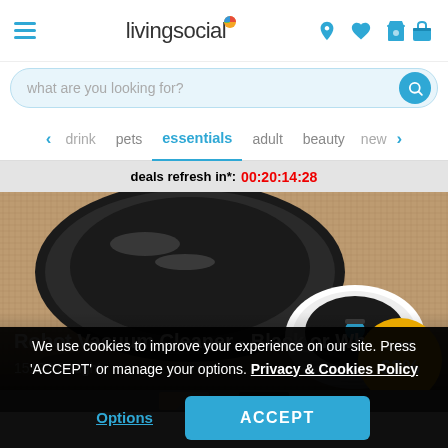livingsocial
what are you looking for?
drink
pets
essentials
adult
beauty
new
deals refresh in*: 00:20:14:28
[Figure (photo): Two robot vacuum cleaners on carpet — one black (large, top left) and one small black-and-white model (bottom right). Gold badge showing 'SAVE 62%'. Text overlay: 'Robot Vacuum Cleaner - Black or White' and '15122 Bought'.]
We use cookies to improve your experience on our site. Press 'ACCEPT' or manage your options. Privacy & Cookies Policy
Options
ACCEPT